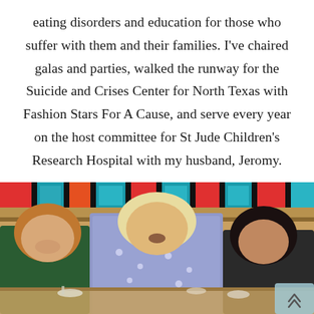eating disorders and education for those who suffer with them and their families. I've chaired galas and parties, walked the runway for the Suicide and Crises Center for North Texas with Fashion Stars For A Cause, and serve every year on the host committee for St Jude Children's Research Hospital with my husband, Jeromy.
[Figure (photo): Photo of three women seated at a restaurant table during an event. The woman on the left has auburn hair and is wearing a dark green floral top. The woman in the center has blonde hair and is wearing a blue patterned sleeveless top. The woman on the right has dark hair. The background features colorful geometric artwork in teal, red, and blue.]